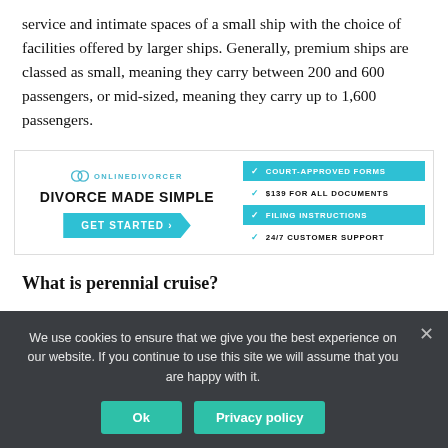service and intimate spaces of a small ship with the choice of facilities offered by larger ships. Generally, premium ships are classed as small, meaning they carry between 200 and 600 passengers, or mid-sized, meaning they carry up to 1,600 passengers.
[Figure (infographic): Online Divorcer advertisement: 'DIVORCE MADE SIMPLE' with GET STARTED button and checklist: COURT-APPROVED FORMS, $139 FOR ALL DOCUMENTS, FILING INSTRUCTIONS, 24/7 CUSTOMER SUPPORT]
What is perennial cruise?
Perennial. Concern markets that are serviced year round because of stable demand and relatively constant weather conditions (tropical and sub-
We use cookies to ensure that we give you the best experience on our website. If you continue to use this site we will assume that you are happy with it.